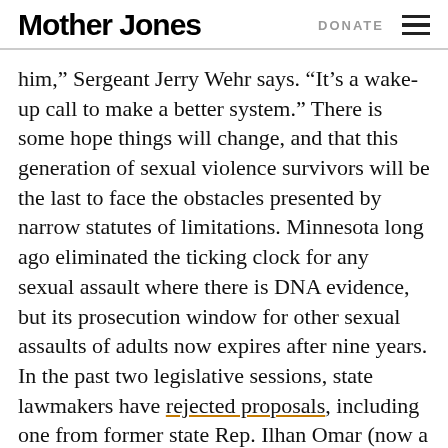Mother Jones | DONATE
him,” Sergeant Jerry Wehr says. “It’s a wake-up call to make a better system.” There is some hope things will change, and that this generation of sexual violence survivors will be the last to face the obstacles presented by narrow statutes of limitations. Minnesota long ago eliminated the ticking clock for any sexual assault where there is DNA evidence, but its prosecution window for other sexual assaults of adults now expires after nine years. In the past two legislative sessions, state lawmakers have rejected proposals, including one from former state Rep. Ilhan Omar (now a member of Congress), to completely abolish the statute of limitations on all sexual assault cases.